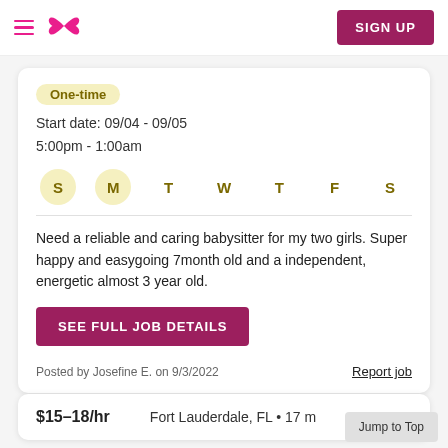SIGN UP
One-time
Start date: 09/04 - 09/05
5:00pm - 1:00am
S M T W T F S (S and M highlighted)
Need a reliable and caring babysitter for my two girls. Super happy and easygoing 7month old and a independent, energetic almost 3 year old.
SEE FULL JOB DETAILS
Posted by Josefine E. on 9/3/2022
Report job
$15–18/hr   Fort Lauderdale, FL • 17 m
Jump to Top